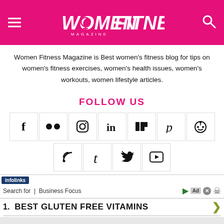Women Fitness Magazine
Women Fitness Magazine is Best women's fitness blog for tips on women's fitness exercises, women's health issues, women's workouts, women lifestyle articles.
FOLLOW US
[Figure (infographic): Social media icons row 1: Facebook, Flickr, Instagram, LinkedIn, Mix, Pinterest, Reddit]
[Figure (infographic): Social media icons row 2: RSS, Tumblr, Twitter, YouTube]
infolinks
Search for | Business Focus
1. BEST GLUTEN FREE VITAMINS